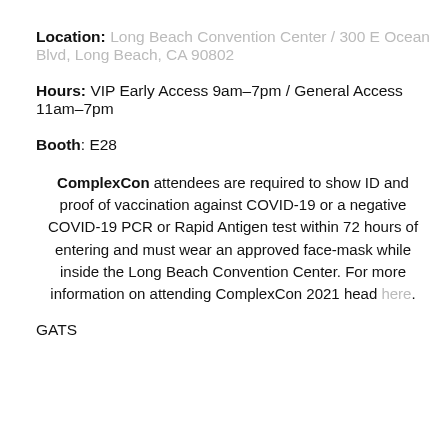Location: Long Beach Convention Center / 300 E Ocean Blvd, Long Beach, CA 90802
Hours: VIP Early Access 9am–7pm / General Access 11am–7pm
Booth: E28
ComplexCon attendees are required to show ID and proof of vaccination against COVID-19 or a negative COVID-19 PCR or Rapid Antigen test within 72 hours of entering and must wear an approved face-mask while inside the Long Beach Convention Center. For more information on attending ComplexCon 2021 head here.
GATS